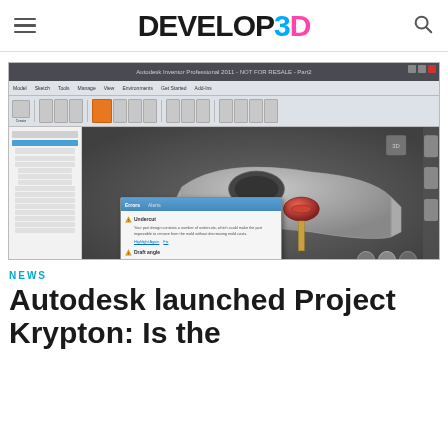DEVELOP3D
[Figure (screenshot): Screenshot of Autodesk Inventor Professional 2011 CAD software showing a 3D model of a part with a warning dialog box open, displaying 'Undercut' and 'Draft angle' warnings with options to Highlight Again and Fix.]
NEWS
Autodesk launched Project Krypton: Is the